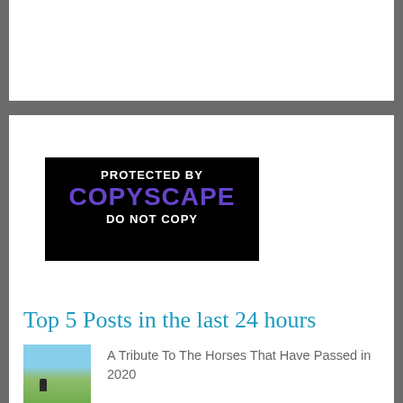[Figure (logo): Copyscape Protected badge — black background, white text 'PROTECTED BY', blue/purple text 'COPYSCAPE', white text 'DO NOT COPY']
Top 5 Posts in the last 24 hours
[Figure (photo): Thumbnail of a horse in a field]
A Tribute To The Horses That Have Passed in 2020
[Figure (photo): Thumbnail of horses in a wooded scene]
A Tribute To The Horses That have Passed in 2017